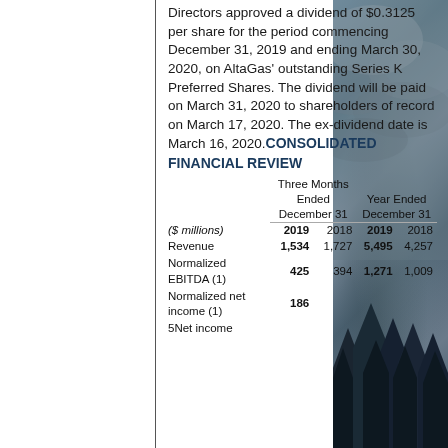Directors approved a dividend of $0.3125 per share for the period commencing December 31, 2019 and ending March 30, 2020, on AltaGas' outstanding Series K Preferred Shares. The dividend will be paid on March 31, 2020 to shareholders of record on March 17, 2020. The ex-dividend date is March 16, 2020.
CONSOLIDATED FINANCIAL REVIEW
|  | Three Months Ended December 31 |  | Year Ended December 31 |  |
| --- | --- | --- | --- | --- |
| Revenue | 1,534 | 1,727 | 5,495 | 4,257 |
| Normalized EBITDA (1) | 425 | 394 | 1,271 | 1,009 |
| Normalized net income (1) | 186 |  | 5 | Net income |
[Figure (photo): Photograph of forested mountain landscape with dark cloudy sky, showing silhouettes of conifer trees against grey clouds]